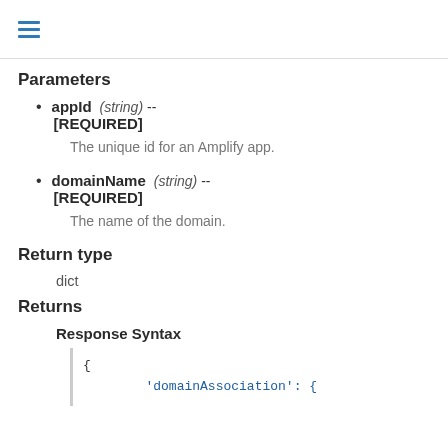≡
Parameters
appId (string) -- [REQUIRED]

The unique id for an Amplify app.
domainName (string) -- [REQUIRED]

The name of the domain.
Return type
dict
Returns
Response Syntax
{
    'domainAssociation': {